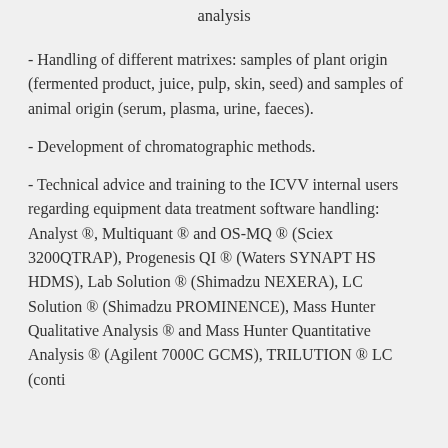analysis
- Handling of different matrixes: samples of plant origin (fermented product, juice, pulp, skin, seed) and samples of animal origin (serum, plasma, urine, faeces).
- Development of chromatographic methods.
- Technical advice and training to the ICVV internal users regarding equipment data treatment software handling: Analyst ®, Multiquant ® and OS-MQ ® (Sciex 3200QTRAP), Progenesis QI ® (Waters SYNAPT HS HDMS), Lab Solution ® (Shimadzu NEXERA), LC Solution ® (Shimadzu PROMINENCE), Mass Hunter Qualitative Analysis ® and Mass Hunter Quantitative Analysis ® (Agilent 7000C GCMS), TRILUTION ® LC (contin...